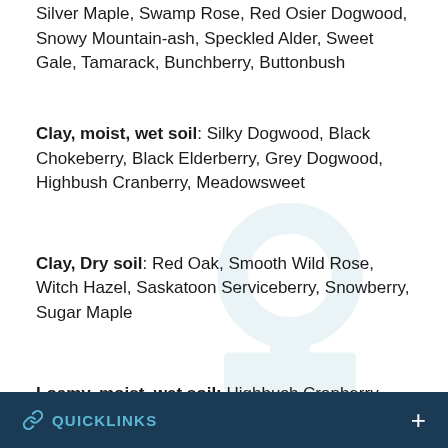Silver Maple, Swamp Rose, Red Osier Dogwood, Snowy Mountain-ash, Speckled Alder, Sweet Gale, Tamarack, Bunchberry, Buttonbush
Clay, moist, wet soil: Silky Dogwood, Black Chokeberry, Black Elderberry, Grey Dogwood, Highbush Cranberry, Meadowsweet
Clay, Dry soil: Red Oak, Smooth Wild Rose, Witch Hazel, Saskatoon Serviceberry, Snowberry, Sugar Maple
Loamy, moist, wet soil: Highbush Cranberry, Sweet Gale, Meadowsweet, Swamp Rose, Red Osier Dogwood,
QUICKLINKS